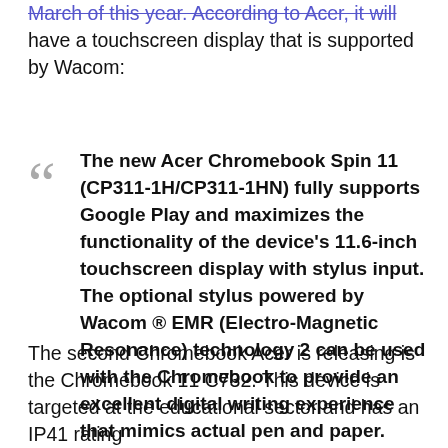March of this year. According to Acer, it will have a touchscreen display that is supported by Wacom:
The new Acer Chromebook Spin 11 (CP311-1H/CP311-1HN) fully supports Google Play and maximizes the functionality of the device's 11.6-inch touchscreen display with stylus input. The optional stylus powered by Wacom ® EMR (Electro-Magnetic Resonance) technology 2 can be used with the Chromebook to provide an excellent digital writing experience that mimics actual pen and paper.
The second Chromebook Acer is releasing is the Chromebook 11 C732. This device is targeted at the educational sector and has an IP41 rating